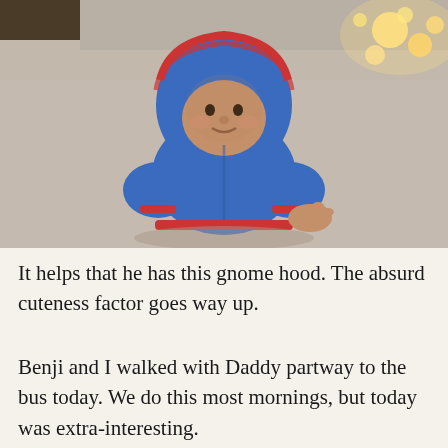[Figure (photo): A baby crawling on a carpet wearing a blue hoodie jacket with red trim, the hood pulled up over their head giving a gnome-like appearance. Warm lights visible in the background.]
It helps that he has this gnome hood. The absurd cuteness factor goes way up.
Benji and I walked with Daddy partway to the bus today. We do this most mornings, but today was extra-interesting.